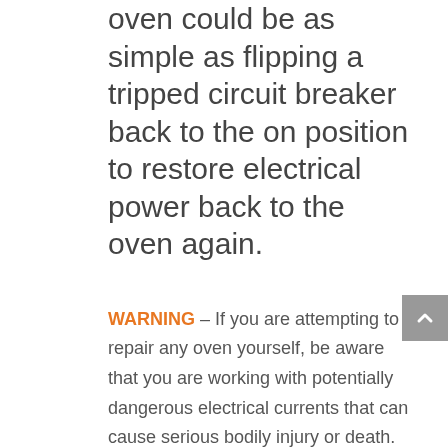oven could be as simple as flipping a tripped circuit breaker back to the on position to restore electrical power back to the oven again.
WARNING – If you are attempting to repair any oven yourself, be aware that you are working with potentially dangerous electrical currents that can cause serious bodily injury or death.  Always remove the electrical power source from the appliance before you ever begin working on it.  If you are attempting to repair any household gas appliances yourself, always be sure to turn off the gas that is designated to the appliance before you ever begin to repair it.  Be aware that ovens have extremely sharp edges and hot parts that can cause serious bodily injury or death.  Be aware that there are many other